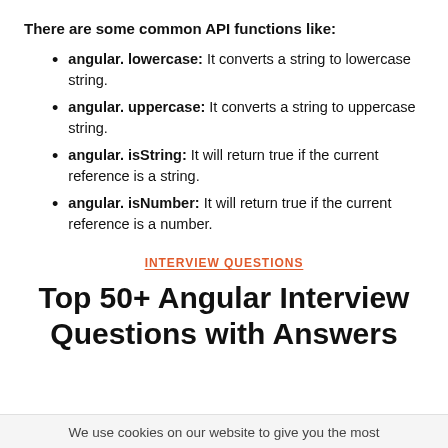There are some common API functions like:
angular. lowercase: It converts a string to lowercase string.
angular. uppercase: It converts a string to uppercase string.
angular. isString: It will return true if the current reference is a string.
angular. isNumber: It will return true if the current reference is a number.
INTERVIEW QUESTIONS
Top 50+ Angular Interview Questions with Answers
We use cookies on our website to give you the most